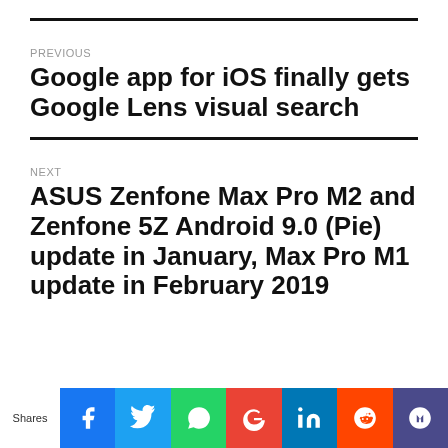PREVIOUS
Google app for iOS finally gets Google Lens visual search
NEXT
ASUS Zenfone Max Pro M2 and Zenfone 5Z Android 9.0 (Pie) update in January, Max Pro M1 update in February 2019
Shares